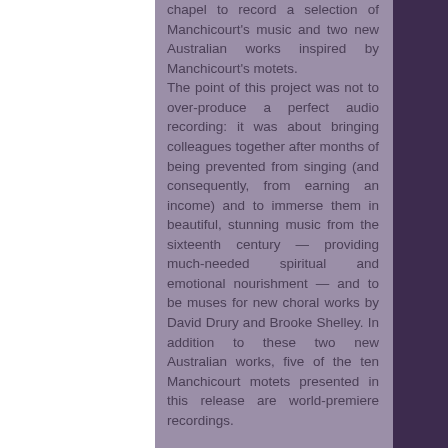chapel to record a selection of Manchicourt's music and two new Australian works inspired by Manchicourt's motets. The point of this project was not to over-produce a perfect audio recording: it was about bringing colleagues together after months of being prevented from singing (and consequently, from earning an income) and to immerse them in beautiful, stunning music from the sixteenth century — providing much-needed spiritual and emotional nourishment — and to be muses for new choral works by David Drury and Brooke Shelley. In addition to these two new Australian works, five of the ten Manchicourt motets presented in this release are world-premiere recordings. This project is supported by the NSW Government through Create NSW, and was recorded in St Paul's College Chapel, within the University of Sydney, by kind permission of the Warden and Chaplain.